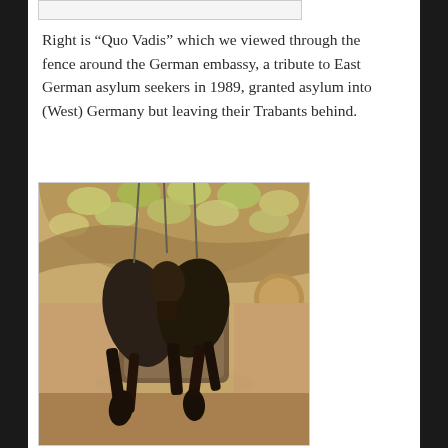[Figure (photo): Partial view of a previous image stub at the top of the page, showing a grey/white bordered rectangle.]
Right is “Quo Vadis” which we viewed through the fence around the German embassy, a tribute to East German asylum seekers in 1989, granted asylum into (West) Germany but leaving their Trabants behind.
[Figure (photo): A photograph of a large bronze sculpture titled 'Quo Vadis' depicting upside-down horses with a rider/figure, suspended from the ceiling of an ornate building interior featuring a circular dome with stained glass windows and decorative arches in warm golden and brown tones.]